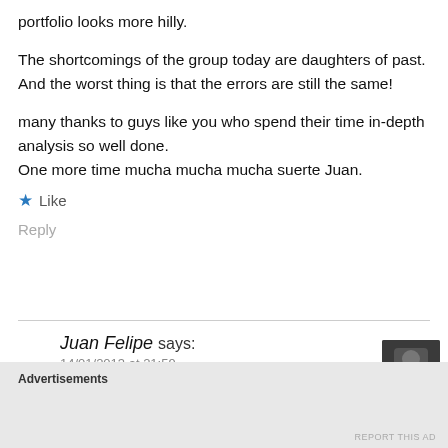portfolio looks more hilly.
The shortcomings of the group today are daughters of past. And the worst thing is that the errors are still the same!
many thanks to guys like you who spend their time in-depth analysis so well done.
One more time mucha mucha mucha suerte Juan.
★ Like
Reply
Juan Felipe says:
14/01/2013 at 21:59
Advertisements